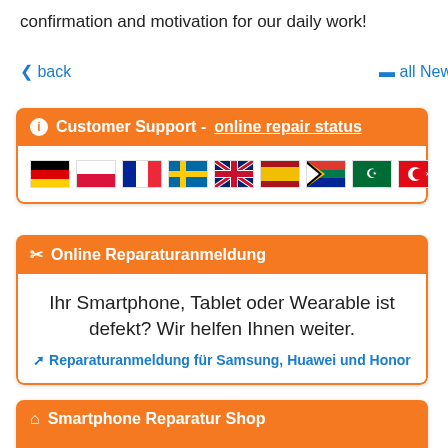confirmation and motivation for our daily work!
‹ back
≡ all News
ℹ Customer Support - online repair status
[Figure (illustration): Row of 9 country flags: Germany, Poland, France, Sweden, United Kingdom, Spain, South Africa, Saudi Arabia, Turkey]
✂ Online Reparaturanmeldung
Ihr Smartphone, Tablet oder Wearable ist defekt? Wir helfen Ihnen weiter.
⎋ Reparaturanmeldung für Samsung, Huawei und Honor
🛒 Smartphone Reparatur Shop